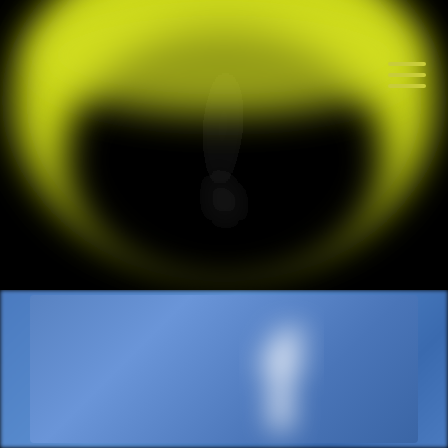[Figure (logo): Blurred yellow/chartreuse circular logo with a dark hook or droplet shape in the center, on black background. Hamburger menu icon (three yellow-green lines) in top right corner.]
What to Bring?
A towel and plenty of water!
[Figure (logo): Blurred Facebook logo — blue background with white 'f' letter mark, partially visible and out of focus.]